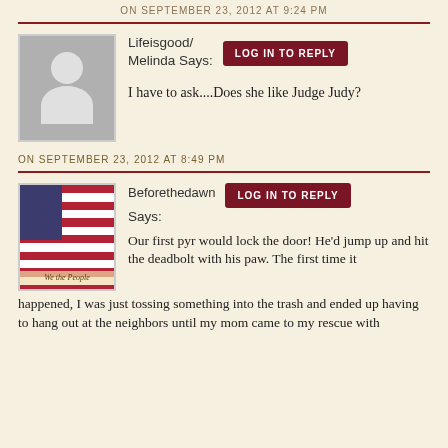ON SEPTEMBER 23, 2012 AT 9:24 PM
Lifeisgood/Melinda Says:
I have to ask....Does she like Judge Judy?
ON SEPTEMBER 23, 2012 AT 8:49 PM
Beforethedawn Says:
Our first pyr would lock the door! He'd jump up and hit the deadbolt with his paw. The first time it happened, I was just tossing something into the trash and ended up having to hang out at the neighbors until my mom came to my rescue with